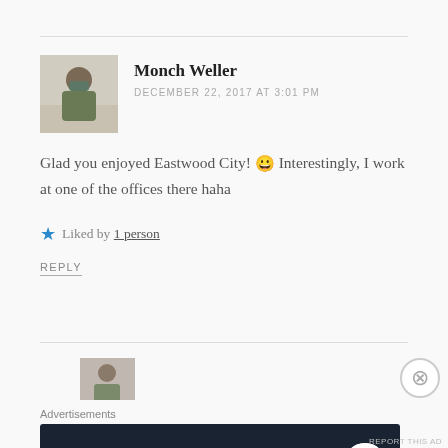Monch Weller
DECEMBER 22, 2017 AT 3:01 PM
Glad you enjoyed Eastwood City! 😀 Interestingly, I work at one of the offices there haha
Liked by 1 person
REPLY
[Figure (other): Advertisement banner: Create surveys, polls, quizzes, and forms. WordPress logo and circular badge icon on dark navy background.]